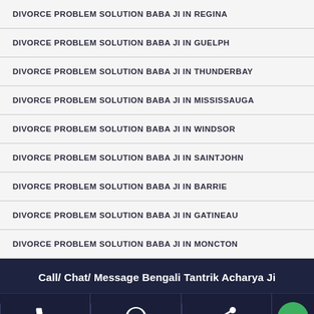DIVORCE PROBLEM SOLUTION BABA JI IN REGINA
DIVORCE PROBLEM SOLUTION BABA JI IN GUELPH
DIVORCE PROBLEM SOLUTION BABA JI IN THUNDERBAY
DIVORCE PROBLEM SOLUTION BABA JI IN MISSISSAUGA
DIVORCE PROBLEM SOLUTION BABA JI IN WINDSOR
DIVORCE PROBLEM SOLUTION BABA JI IN SAINTJOHN
DIVORCE PROBLEM SOLUTION BABA JI IN BARRIE
DIVORCE PROBLEM SOLUTION BABA JI IN GATINEAU
DIVORCE PROBLEM SOLUTION BABA JI IN MONCTON
Call/ Chat/ Message Bengali Tantrik Acharya Ji